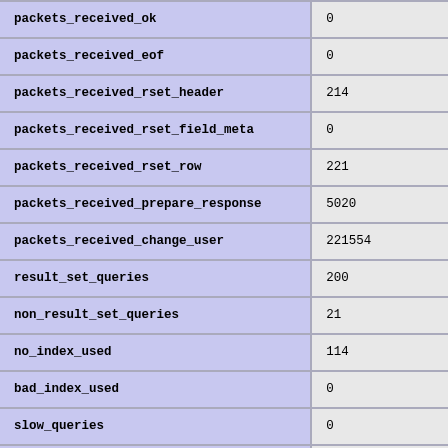| Variable | Value |
| --- | --- |
| packets_received_ok | 0 |
| packets_received_eof | 0 |
| packets_received_rset_header | 214 |
| packets_received_rset_field_meta | 0 |
| packets_received_rset_row | 221 |
| packets_received_prepare_response | 5020 |
| packets_received_change_user | 221554 |
| result_set_queries | 200 |
| non_result_set_queries | 21 |
| no_index_used | 114 |
| bad_index_used | 0 |
| slow_queries | 0 |
| buffered_sets | 200 |
| unbuffered_sets | 0 |
| ps_buffered_sets | 0 |